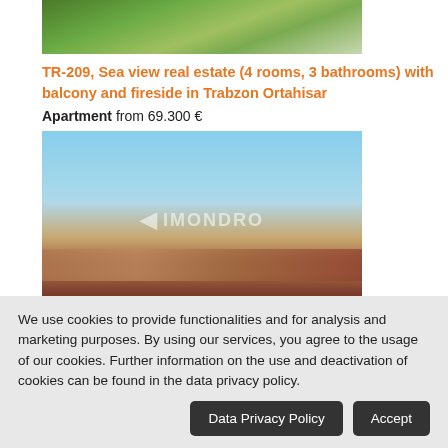[Figure (photo): Aerial view of apartment complex with greenery, partially visible at top of page]
TR-209, Sea view real estate (4 rooms, 3 bathrooms) with balcony and fireside in Trabzon Ortahisar
Apartment from 69.300 €
[Figure (photo): Sea view photo showing coastline with buildings and sea under blue sky, with IMONDRO watermark]
TR-134-3, Sea view apartment (4 rooms, 2 bathrooms) with balcony and spa area in Trabzon Ortahisar
We use cookies to provide functionalities and for analysis and marketing purposes. By using our services, you agree to the usage of our cookies. Further information on the use and deactivation of cookies can be found in the data privacy policy.